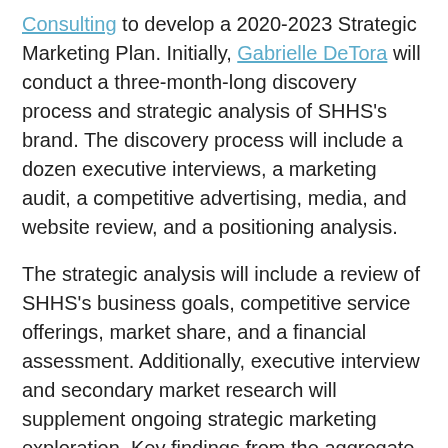Consulting to develop a 2020-2023 Strategic Marketing Plan. Initially, Gabrielle DeTora will conduct a three-month-long discovery process and strategic analysis of SHHS's brand. The discovery process will include a dozen executive interviews, a marketing audit, a competitive advertising, media, and website review, and a positioning analysis.
The strategic analysis will include a review of SHHS's business goals, competitive service offerings, market share, and a financial assessment. Additionally, executive interview and secondary market research will supplement ongoing strategic marketing exploration. Key findings from the aggregate of the information reviewed will be incorporated into the Strategic Marketing Plan for SHHS.